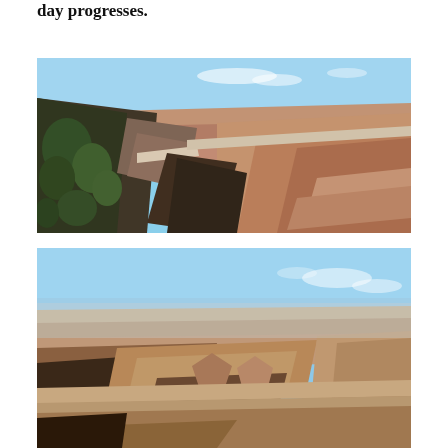day progresses.
[Figure (photo): Aerial view of the Grand Canyon showing steep canyon walls with green vegetation on the left side and layered red and orange rock formations extending into the distance under a blue sky.]
[Figure (photo): Wide panoramic view of the Grand Canyon looking across the vast expanse of layered red and tan rock formations with a hazy blue sky above.]